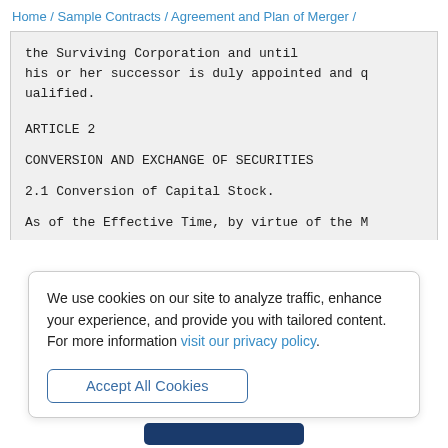Home / Sample Contracts / Agreement and Plan of Merger /
the Surviving Corporation and until his or her successor is duly appointed and qualified.
ARTICLE 2
CONVERSION AND EXCHANGE OF SECURITIES
2.1 Conversion of Capital Stock.
As of the Effective Time, by virtue of the M
We use cookies on our site to analyze traffic, enhance your experience, and provide you with tailored content.
For more information visit our privacy policy.
Accept All Cookies